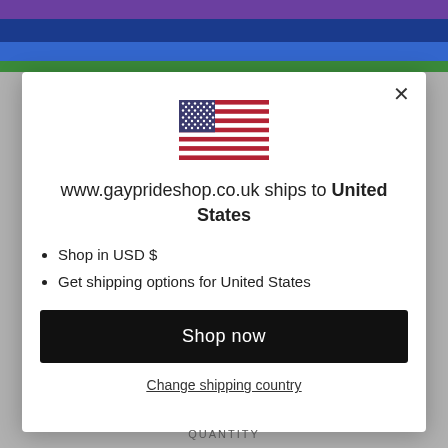[Figure (screenshot): Background with horizontal colored stripes (purple, dark blue, blue, green) visible at top behind modal dialog]
[Figure (illustration): US flag SVG illustration inside modal dialog]
www.gayprideshop.co.uk ships to United States
Shop in USD $
Get shipping options for United States
Shop now
Change shipping country
QUANTITY